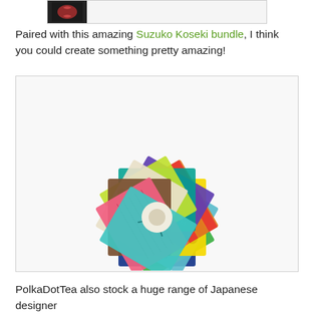[Figure (photo): Top partial image strip showing edge of a bordered image frame with a small red thumbnail on the left side]
Paired with this amazing Suzuko Koseki bundle, I think you could create something pretty amazing!
[Figure (photo): A fan/pinwheel arrangement of colorful Japanese fabric fat quarters spread out in a circular pattern, showing various patterns including stripes, florals, text prints in blue, green, yellow, red, pink, brown, and teal colors]
PolkaDotTea also stock a huge range of Japanese designer